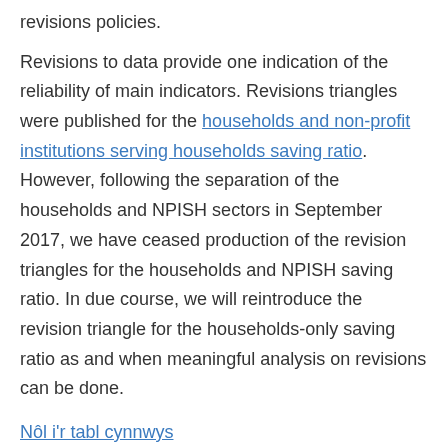revisions policies.
Revisions to data provide one indication of the reliability of main indicators. Revisions triangles were published for the households and non-profit institutions serving households saving ratio. However, following the separation of the households and NPISH sectors in September 2017, we have ceased production of the revision triangles for the households and NPISH saving ratio. In due course, we will reintroduce the revision triangle for the households-only saving ratio as and when meaningful analysis on revisions can be done.
Nôl i'r tabl cynnwys